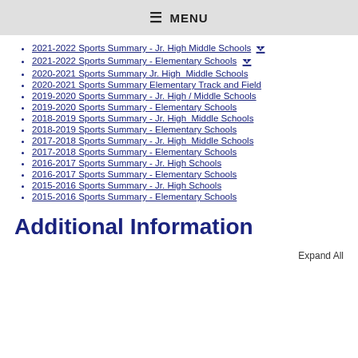MENU
2021-2022 Sports Summary - Jr. High Middle Schools
2021-2022 Sports Summary - Elementary Schools
2020-2021 Sports Summary Jr. High  Middle Schools
2020-2021 Sports Summary Elementary Track and Field
2019-2020 Sports Summary - Jr. High / Middle Schools
2019-2020 Sports Summary - Elementary Schools
2018-2019 Sports Summary - Jr. High  Middle Schools
2018-2019 Sports Summary - Elementary Schools
2017-2018 Sports Summary - Jr. High  Middle Schools
2017-2018 Sports Summary - Elementary Schools
2016-2017 Sports Summary - Jr. High Schools
2016-2017 Sports Summary - Elementary Schools
2015-2016 Sports Summary - Jr. High Schools
2015-2016 Sports Summary - Elementary Schools
Additional Information
Expand All